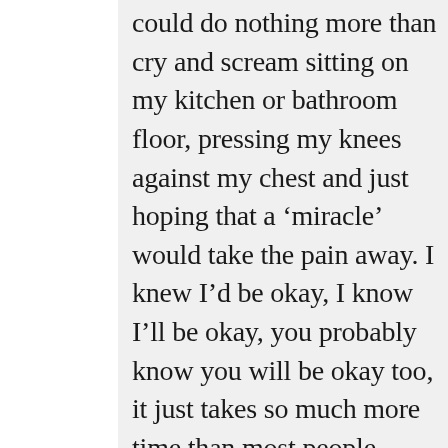could do nothing more than cry and scream sitting on my kitchen or bathroom floor, pressing my knees against my chest and just hoping that a ‘miracle’ would take the pain away. I knew I’d be okay, I know I’ll be okay, you probably know you will be okay too, it just takes so much more time than most people expect us to be okay. Our pain seems to be so much more insignificant then the partners pain. It seems like we need to be